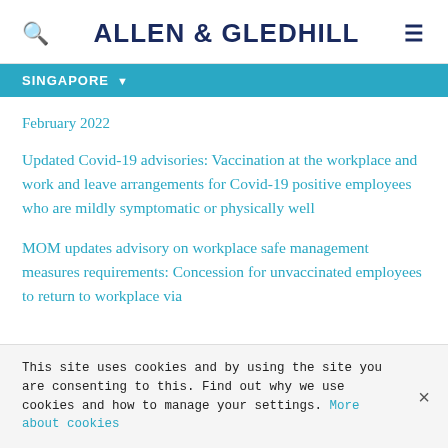ALLEN & GLEDHILL
SINGAPORE
February 2022
Updated Covid-19 advisories: Vaccination at the workplace and work and leave arrangements for Covid-19 positive employees who are mildly symptomatic or physically well
MOM updates advisory on workplace safe management measures requirements: Concession for unvaccinated employees to return to workplace via
This site uses cookies and by using the site you are consenting to this. Find out why we use cookies and how to manage your settings. More about cookies